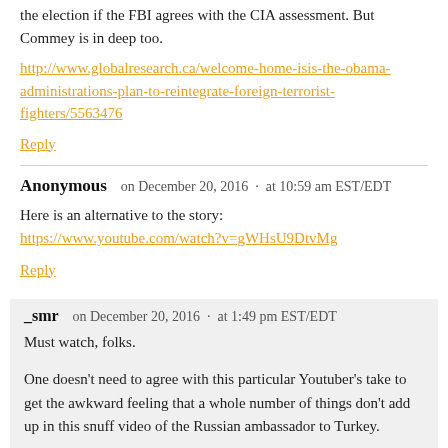the election if the FBI agrees with the CIA assessment. But Commey is in deep too.
http://www.globalresearch.ca/welcome-home-isis-the-obama-administrations-plan-to-reintegrate-foreign-terrorist-fighters/5563476
Reply
Anonymous   on December 20, 2016  ·  at 10:59 am EST/EDT
Here is an alternative to the story:
 https://www.youtube.com/watch?v=gWHsU9DtvMg
Reply
_smr   on December 20, 2016  ·  at 1:49 pm EST/EDT
Must watch, folks.
One doesn't need to agree with this particular Youtuber's take to get the awkward feeling that a whole number of things don't add up in this snuff video of the Russian ambassador to Turkey.
The Clowns in Charge have their hands in this, on multiple levels